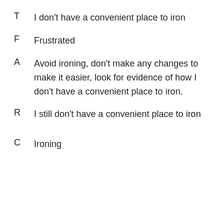T    I don't have a convenient place to iron
F    Frustrated
A    Avoid ironing, don't make any changes to make it easier, look for evidence of how I don't have a convenient place to iron.
R    I still don't have a convenient place to iron
C    Ironing